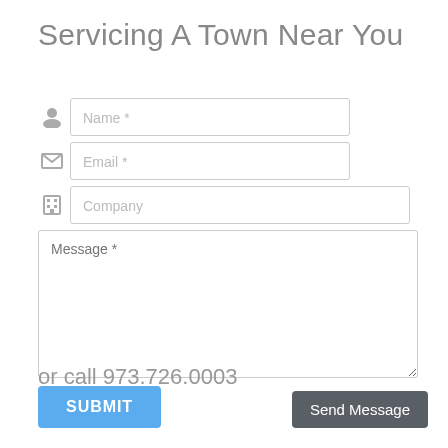Servicing A Town Near You
[Figure (screenshot): Contact form with fields for Name, Email, Company, Message, a SUBMIT button, and a 'Send Message' button at the bottom right.]
or call 973.726.0003